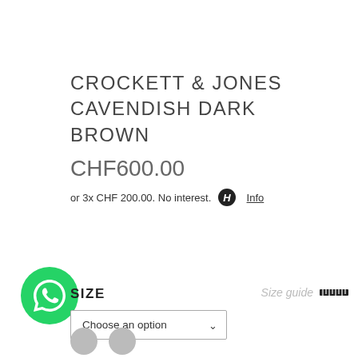CROCKETT & JONES CAVENDISH DARK BROWN
CHF600.00
or 3x CHF 200.00. No interest.  Info
SIZE
Size guide
Choose an option